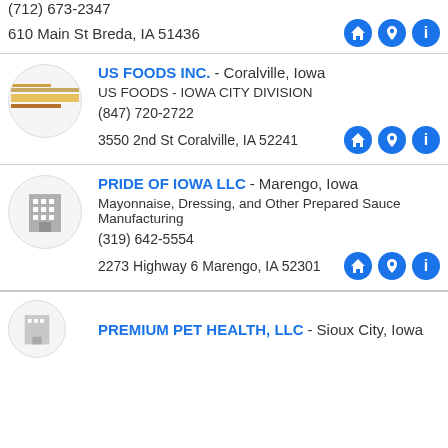(712) 673-2347
610 Main St Breda, IA 51436
US FOODS INC. - Coralville, Iowa
US FOODS - IOWA CITY DIVISION
(847) 720-2722
3550 2nd St Coralville, IA 52241
PRIDE OF IOWA LLC - Marengo, Iowa
Mayonnaise, Dressing, and Other Prepared Sauce Manufacturing
(319) 642-5554
2273 Highway 6 Marengo, IA 52301
PREMIUM PET HEALTH, LLC - Sioux City, Iowa